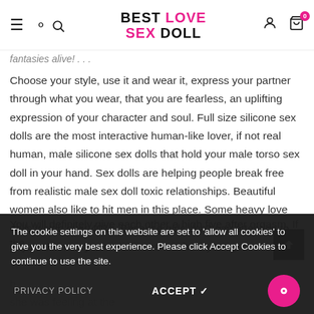BEST LOVE SEX DOLL
fantasies alive! . . .
Choose your style, use it and wear it, express your partner through what you wear, that you are fearless, an uplifting expression of your character and soul. Full size silicone sex dolls are the most interactive human-like lover, if not real human, male silicone sex dolls that hold your male torso sex doll in your hand. Sex dolls are helping people break free from realistic male sex doll toxic relationships. Beautiful women also like to hit men in this place. Some heavy love dolls weigh over 40kg. Because girls don't pay attention to physical sensory stimulation as much as younger
The cookie settings on this website are set to 'allow all cookies' to give you the very best experience. Please click Accept Cookies to continue to use the site.